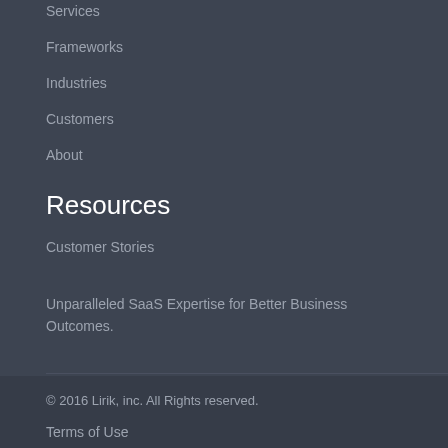Services
Frameworks
Industries
Customers
About
Resources
Customer Stories
Unparalleled SaaS Expertise for Better Business Outcomes.
© 2016 Lirik, inc. All Rights reserved.
Terms of Use